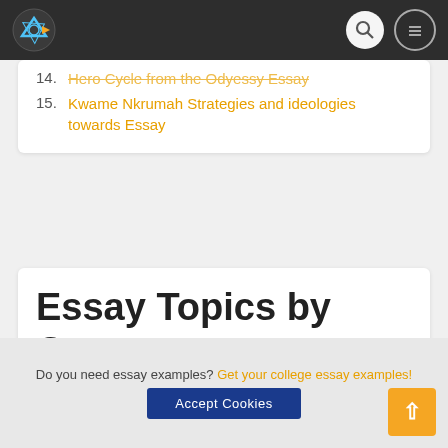Site header with logo, search, and menu icons
14. Hero Cycle from the Odyessy Essay
15. Kwame Nkrumah Strategies and ideologies towards Essay
Essay Topics by Category
Meals
Do you need essay examples? Get your college essay examples!
Accept Cookies